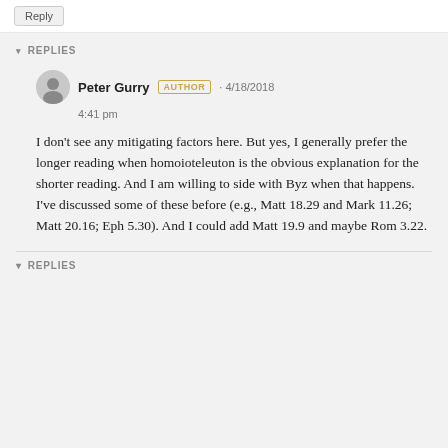▾ REPLIES
Peter Gurry AUTHOR · 4/18/2018 4:41 pm
I don't see any mitigating factors here. But yes, I generally prefer the longer reading when homoioteleuton is the obvious explanation for the shorter reading. And I am willing to side with Byz when that happens. I've discussed some of these before (e.g., Matt 18.29 and Mark 11.26; Matt 20.16; Eph 5.30). And I could add Matt 19.9 and maybe Rom 3.22.
▾ REPLIES